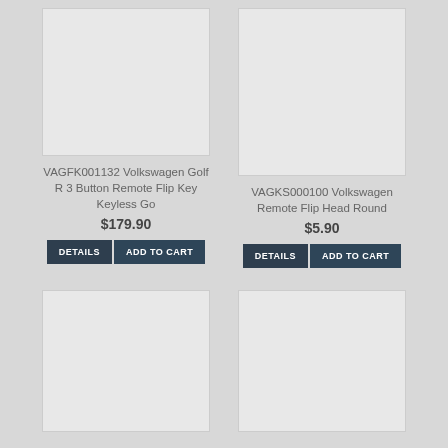[Figure (photo): Product image placeholder for VAGFK001132]
VAGFK001132 Volkswagen Golf R 3 Button Remote Flip Key Keyless Go
$179.90
[Figure (photo): Product image placeholder for VAGKS000100]
VAGKS000100 Volkswagen Remote Flip Head Round
$5.90
[Figure (photo): Product image placeholder bottom left]
[Figure (photo): Product image placeholder bottom right]